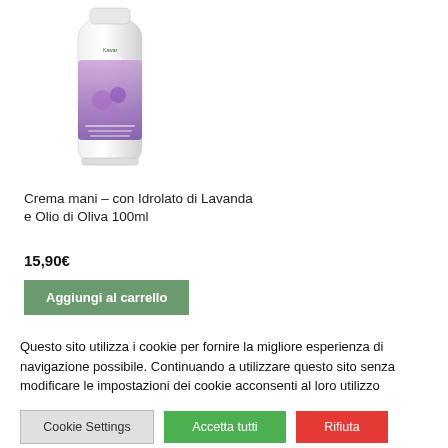[Figure (photo): Product photo of a white tube of hand cream with lavender branding and purple lavender flower imagery]
Crema mani – con Idrolato di Lavanda e Olio di Oliva 100ml
15,90€
Aggiungi al carrello
Questo sito utilizza i cookie per fornire la migliore esperienza di navigazione possibile. Continuando a utilizzare questo sito senza modificare le impostazioni dei cookie acconsenti al loro utilizzo
Cookie Settings
Accetta tutti
Rifiuta